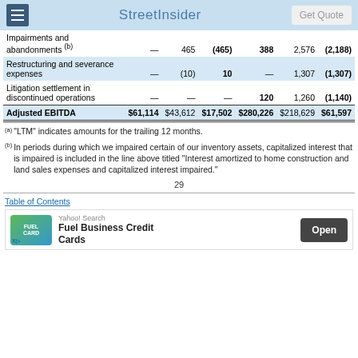StreetInsider
|  | LTM |  |  |  |  |  |
| --- | --- | --- | --- | --- | --- | --- |
| Impairments and abandonments (b) | — | 465 | (465) | 388 | 2,576 | (2,188) |
| Restructuring and severance expenses | — | (10) | 10 | — | 1,307 | (1,307) |
| Litigation settlement in discontinued operations | — | — | — | 120 | 1,260 | (1,140) |
| Adjusted EBITDA | $61,114 | $43,612 | $17,502 | $280,226 | $218,629 | $61,597 |
(a) "LTM" indicates amounts for the trailing 12 months.
(b) In periods during which we impaired certain of our inventory assets, capitalized interest that is impaired is included in the line above titled “Interest amortized to home construction and land sales expenses and capitalized interest impaired.”
29
Table of Contents
[Figure (other): Yahoo! Search advertisement for Fuel Business Credit Cards with Open button]